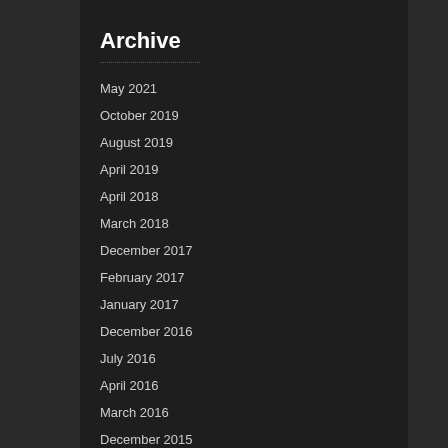Archive
May 2021
October 2019
August 2019
April 2019
April 2018
March 2018
December 2017
February 2017
January 2017
December 2016
July 2016
April 2016
March 2016
December 2015
November 2015
June 2015